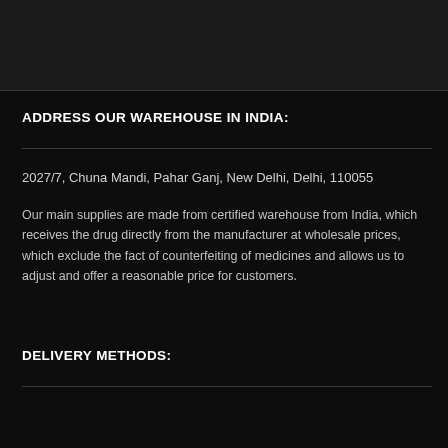ADDRESS OUR WAREHOUSE IN INDIA:
2027/7, Chuna Mandi, Pahar Ganj, New Delhi, Delhi, 110055
Our main supplies are made from certified warehouse from India, which receives the drug directly from the manufacturer at wholesale prices, which exclude the fact of counterfeiting of medicines and allows us to adjust and offer a reasonable price for customers.
DELIVERY METHODS: